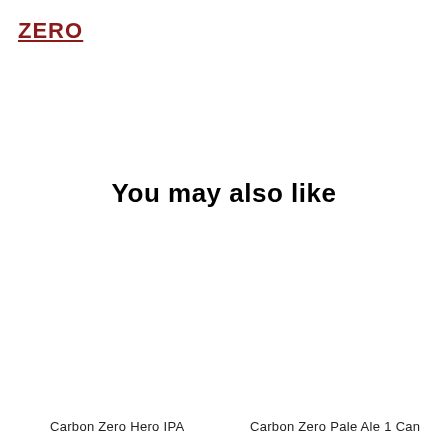ZERO
You may also like
Carbon Zero Hero IPA
Carbon Zero Pale Ale 1 Can